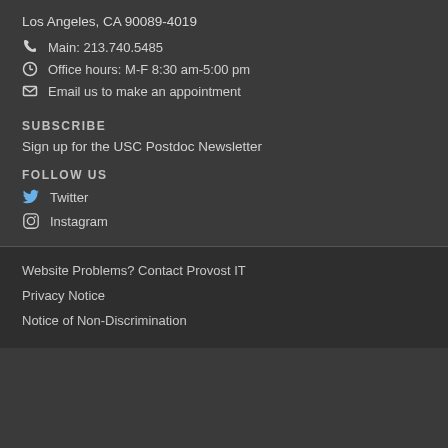Los Angeles, CA 90089-4019
Main: 213.740.5485
Office hours: M-F 8:30 am-5:00 pm
Email us to make an appointment
SUBSCRIBE
Sign up for the USC Postdoc Newsletter
FOLLOW US
Twitter
Instagram
Website Problems? Contact Provost IT
Privacy Notice
Notice of Non-Discrimination